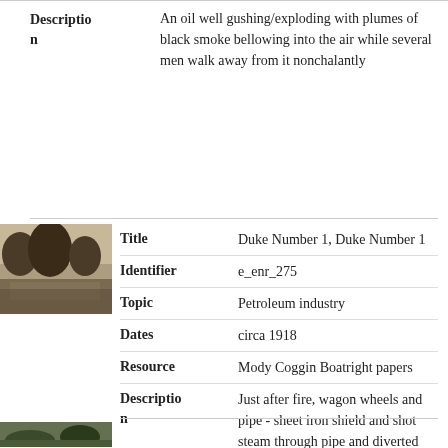Description: An oil well gushing/exploding with plumes of black smoke bellowing into the air while several men walk away from it nonchalantly
[Figure (photo): Historical sepia photograph of a forest clearing with steam engine and smoke, used as thumbnail for Duke Number 1 record]
| Field | Value |
| --- | --- |
| Title | Duke Number 1, Duke Number 1 |
| Identifier | e_enr_275 |
| Topic | Petroleum industry |
| Dates | circa 1918 |
| Resource | Mody Coggin Boatright papers |
| Description | Just after fire, wagon wheels and pipe - sheet iron shield and shot steam through pipe and diverted oil. [Smoldering forest clearing with steam engine and smoke] |
[Figure (photo): Partial thumbnail of another historical photograph at bottom of page]